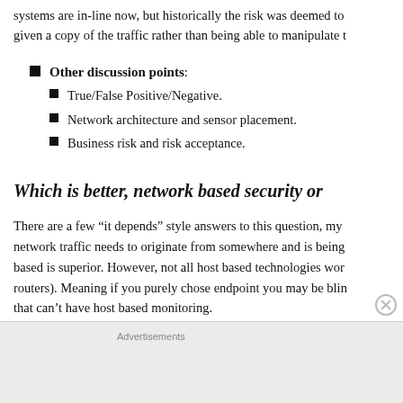systems are in-line now, but historically the risk was deemed to given a copy of the traffic rather than being able to manipulate t
Other discussion points:
True/False Positive/Negative.
Network architecture and sensor placement.
Business risk and risk acceptance.
Which is better, network based security or
There are a few “it depends” style answers to this question, my network traffic needs to originate from somewhere and is being based is superior. However, not all host based technologies wor routers). Meaning if you purely chose endpoint you may be blin that can’t have host based monitoring.
Advertisements